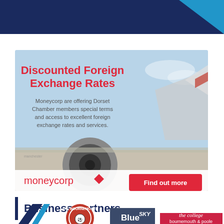[Figure (other): Dark navy blue top banner with a blue right-angle triangle accent in the top right corner]
[Figure (illustration): Moneycorp advertisement with airplane background showing 'Discounted Foreign Exchange Rates'. Text reads: 'Moneycorp are offering Dorset Chamber members special terms and access to excellent foreign exchange rates and services.' Bottom bar shows moneycorp logo with diamond icon and a red 'Find out more' button.]
Business Partners
[Figure (logo): Row of business partner logos including an angular arrow logo, AFC Bournemouth football club logo, Blue SKY logo, and The College Bournemouth & Poole logo]